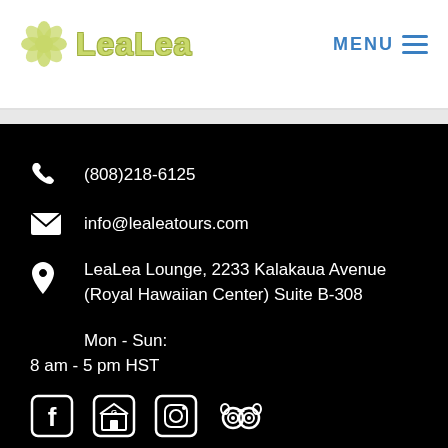[Figure (logo): LeaLea Tours logo with flower icon and stylized text]
MENU
(808)218-6125
info@lealeatours.com
LeaLea Lounge, 2233 Kalakaua Avenue (Royal Hawaiian Center) Suite B-308
Mon - Sun:
8 am - 5 pm HST
[Figure (infographic): Social media icons: Facebook, Google My Business, Instagram, TripAdvisor]